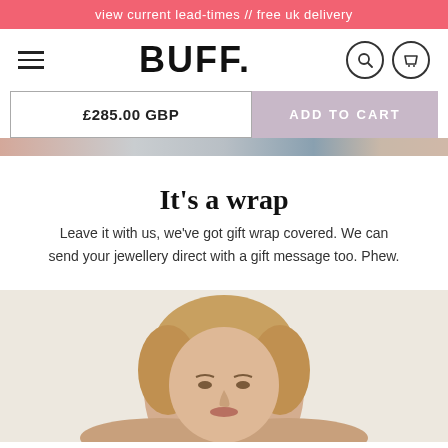view current lead-times // free uk delivery
BUFF.
£285.00 GBP
ADD TO CART
[Figure (photo): Product image strip showing jewellery with skin-tone and grey tones]
It's a wrap
Leave it with us, we've got gift wrap covered. We can send your jewellery direct with a gift message too. Phew.
[Figure (photo): Photo of a blonde woman wearing jewellery, cropped at forehead level]